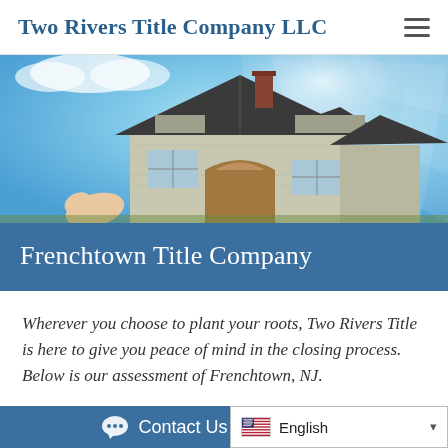Two Rivers Title Company LLC
[Figure (photo): Hand holding a model house against a bright blue sky with radiating light beams — a stone/brick residential house with dark grey roof and chimney]
Frenchtown Title Company
Wherever you choose to plant your roots, Two Rivers Title is here to give you peace of mind in the closing process. Below is our assessment of Frenchtown, NJ.
Contact Us  English